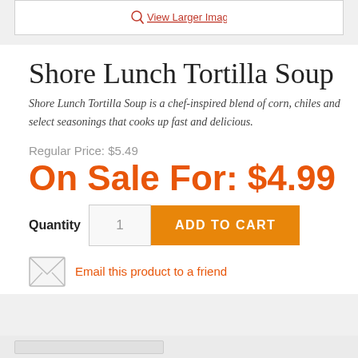[Figure (screenshot): Top bar showing 'View Larger Image' link with magnifier icon, on white background with border]
Shore Lunch Tortilla Soup
Shore Lunch Tortilla Soup is a chef-inspired blend of corn, chiles and select seasonings that cooks up fast and delicious.
Regular Price: $5.49
On Sale For: $4.99
Quantity  1  ADD TO CART
Email this product to a friend